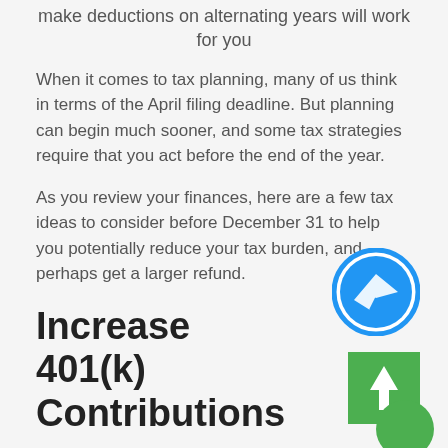make deductions on alternating years will work for you
When it comes to tax planning, many of us think in terms of the April filing deadline. But planning can begin much sooner, and some tax strategies require that you act before the end of the year.
As you review your finances, here are a few tax ideas to consider before December 31 to help you potentially reduce your tax burden, and perhaps get a larger refund.
Increase 401(k) Contributions
[Figure (illustration): Blue circle with white paper airplane icon]
[Figure (illustration): Green square with white upward arrow]
[Figure (illustration): Green circle bottom right decoration]
Contributions you make to employer-sponsored retirement plans and other tax-deferred retirement accounts are taken out of your paycheck before tax, which helps lower your taxable income. If your